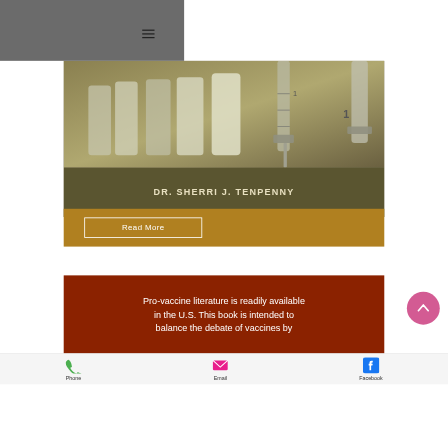[Figure (screenshot): Mobile website screenshot showing a book cover with vaccine vials and syringe, authored by Dr. Sherri J. Tenpenny, with a 'Read More' button on a golden-brown banner, a dark red text block about pro-vaccine literature, a back-to-top button, and a footer with Phone, Email, and Facebook icons.]
DR. SHERRI J. TENPENNY
Read More
Pro-vaccine literature is readily available in the U.S. This book is intended to balance the debate of vaccines by
Phone   Email   Facebook